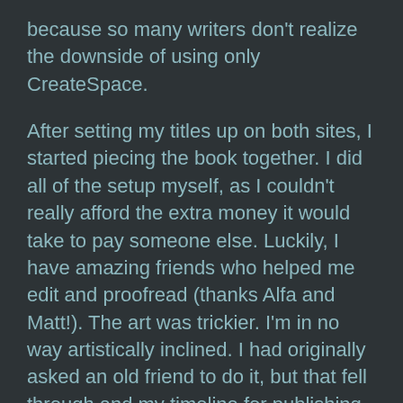because so many writers don't realize the downside of using only CreateSpace.
After setting my titles up on both sites, I started piecing the book together. I did all of the setup myself, as I couldn't really afford the extra money it would take to pay someone else. Luckily, I have amazing friends who helped me edit and proofread (thanks Alfa and Matt!). The art was trickier. I'm in no way artistically inclined. I had originally asked an old friend to do it, but that fell through and my timeline for publishing got pushed back. I think that was an important lesson for me. For future books, I'll get the art nailed down a lot earlier in the process. I did find a wonderful artist though, and she created exactly what I wanted for the cover. With the interior art, I